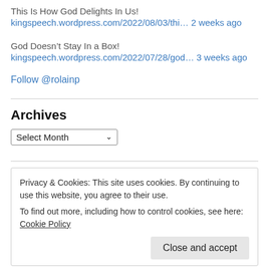This Is How God Delights In Us!
kingspeech.wordpress.com/2022/08/03/thi… 2 weeks ago
God Doesn’t Stay In a Box!
kingspeech.wordpress.com/2022/07/28/god… 3 weeks ago
Follow @rolainp
Archives
Select Month
Privacy & Cookies: This site uses cookies. By continuing to use this website, you agree to their use.
To find out more, including how to control cookies, see here: Cookie Policy
Close and accept
WordPress.com